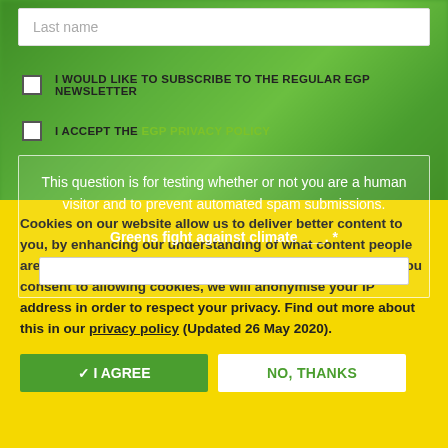Last name
I WOULD LIKE TO SUBSCRIBE TO THE REGULAR EGP NEWSLETTER
I ACCEPT THE EGP PRIVACY POLICY
This question is for testing whether or not you are a human visitor and to prevent automated spam submissions.
Greens fight against climate ___. *
Cookies on our website allow us to deliver better content to you, by enhancing our understanding of what content people are engaging with. We do this through Google Analytics. If you consent to allowing cookies, we will anonymise your IP address in order to respect your privacy. Find out more about this in our privacy policy (Updated 26 May 2020).
✓ I AGREE
NO, THANKS